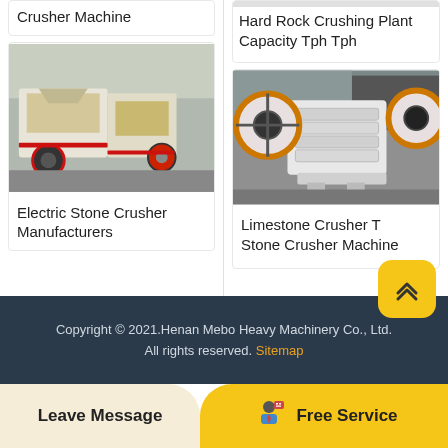Crusher Machine
[Figure (photo): Impact stone crusher machine, white with red accents, industrial setting]
Electric Stone Crusher Manufacturers
Hard Rock Crushing Plant Capacity Tph Tph
[Figure (photo): Jaw crusher machine, white with orange/black wheels, outdoor setting]
Limestone Crusher T Stone Crusher Machine
Copyright © 2021.Henan Mebo Heavy Machinery Co., Ltd. All rights reserved. Sitemap
Leave Message
Free Service